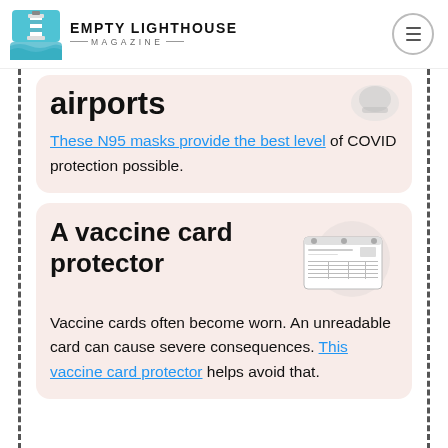EMPTY LIGHTHOUSE MAGAZINE
airports
These N95 masks provide the best level of COVID protection possible.
A vaccine card protector
Vaccine cards often become worn. An unreadable card can cause severe consequences. This vaccine card protector helps avoid that.